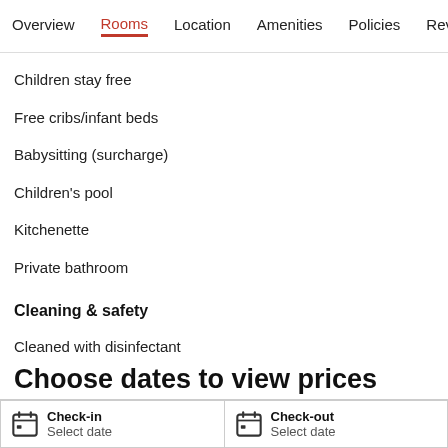Overview  Rooms  Location  Amenities  Policies  Reviews
Children stay free
Free cribs/infant beds
Babysitting (surcharge)
Children's pool
Kitchenette
Private bathroom
Cleaning & safety
Cleaned with disinfectant
Hand sanitiser provided
Personal protective equipment
Social distancing
Choose dates to view prices
Check-in  Select date  Check-out  Select date